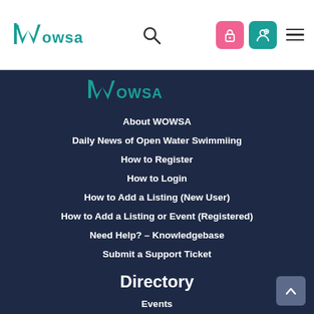[Figure (logo): WOWSA logo with stylized W and teal text]
[Figure (screenshot): Navigation header with search icon, pink lock icon, teal user icon, and hamburger menu]
[Figure (logo): WOWSA logo in teal on dark navy background]
About WOWSA
Daily News of Open Water Swimmiing
How to Register
How to Login
How to Add a Listing (New User)
How to Add a Listing or Event (Registered)
Need Help? – Knowledgebase
Submit a Support Ticket
Directory
Events
Swim Community